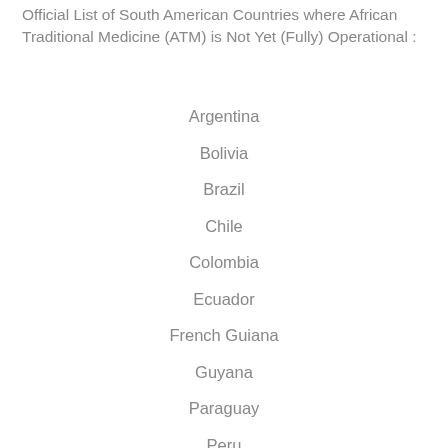Official List of South American Countries where African Traditional Medicine (ATM) is Not Yet (Fully) Operational :
Argentina
Bolivia
Brazil
Chile
Colombia
Ecuador
French Guiana
Guyana
Paraguay
Peru
Suriname